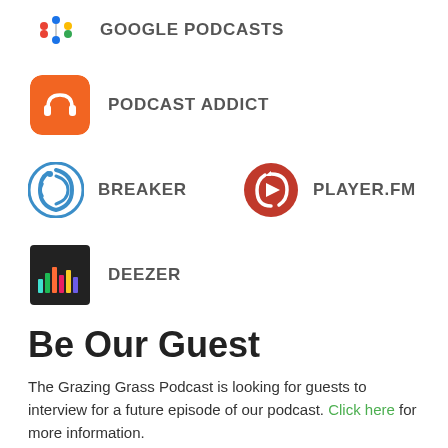[Figure (logo): Google Podcasts logo - colorful dots]
GOOGLE PODCASTS
[Figure (logo): Podcast Addict logo - orange rounded square with headphone icon]
PODCAST ADDICT
[Figure (logo): Breaker logo - blue swirl icon]
BREAKER
[Figure (logo): Player.FM logo - red circle with play icon]
PLAYER.FM
[Figure (logo): Deezer logo - black square with colorful bar chart]
DEEZER
Be Our Guest
The Grazing Grass Podcast is looking for guests to interview for a future episode of our podcast. Click here for more information.